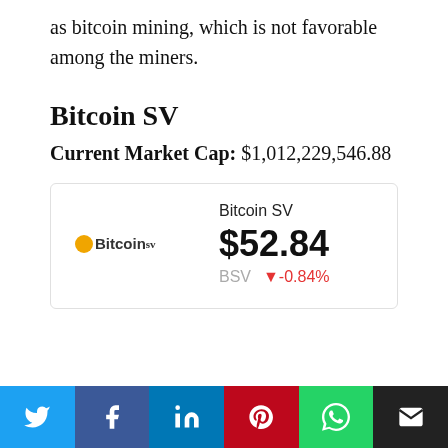as bitcoin mining, which is not favorable among the miners.
Bitcoin SV
Current Market Cap: $1,012,229,546.88
[Figure (infographic): Bitcoin SV price widget showing logo, name 'Bitcoin SV', price $52.84, ticker BSV and change -0.84%]
Twitter | Facebook | LinkedIn | Pinterest | WhatsApp | Email